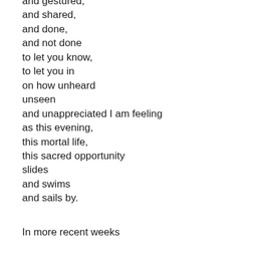and gestured,
and shared,
and done,
and not done
to let you know,
to let you in
on how unheard
unseen
and unappreciated I am feeling
as this evening,
this mortal life,
this sacred opportunity
slides
and swims
and sails by.

In more recent weeks